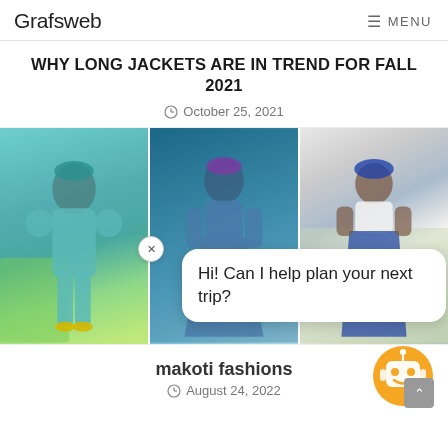Grafsweb   ≡ MENU
WHY LONG JACKETS ARE IN TREND FOR FALL 2021
October 25, 2021
[Figure (photo): Three photos of women wearing African-inspired fashion: left photo shows woman in teal/green outfit with matching headwrap; center photo shows woman in blue denim flared dress with headwrap; right photo shows woman in white crop top with blue patterned skirt and blue headwrap. A chat popup overlay reads 'Hi! Can I help plan your next trip?' with a close X button.]
makoti fashions
August 24, 2022